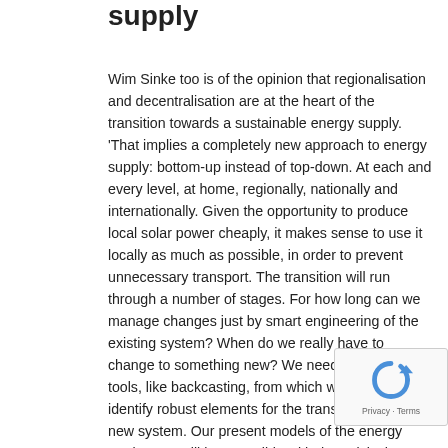supply
Wim Sinke too is of the opinion that regionalisation and decentralisation are at the heart of the transition towards a sustainable energy supply. 'That implies a completely new approach to energy supply: bottom-up instead of top-down. At each and every level, at home, regionally, nationally and internationally. Given the opportunity to produce local solar power cheaply, it makes sense to use it locally as much as possible, in order to prevent unnecessary transport. The transition will run through a number of stages. For how long can we manage changes just by smart engineering of the existing system? When do we really have to change to something new? We need new planning tools, like backcasting, from which we will have to identify robust elements for the transition towards a new system. Our present models of the energy market are still incompatible with the quick changes that solar power has brought in the past few years. This has contributed to the present polarisation and stalemate in Germany. The Germans now pioneer for the entire world in the quest for solutions. Ultimately, solutions born from shared interests will be better than those born from confrontation. If interests are shared, solutions can be implemented much faster.'